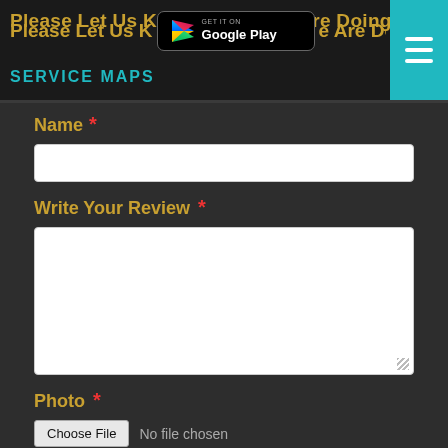Please Let Us Know How We Are Doing SERVICE MAPS
[Figure (logo): Get it on Google Play badge]
Name *
Write Your Review *
Photo *
Choose File  No file chosen
Submit